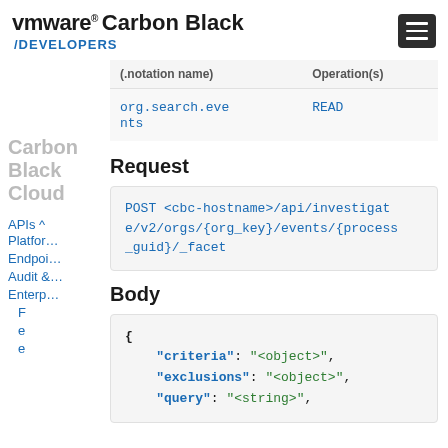VMware Carbon Black /DEVELOPERS
| (.notation name) | Operation(s) |
| --- | --- |
| org.search.events | READ |
Request
POST <cbc-hostname>/api/investigate/v2/orgs/{org_key}/events/{process_guid}/_facet
Body
{
    "criteria": "<object>",
    "exclusions": "<object>",
    "query": "<string>",